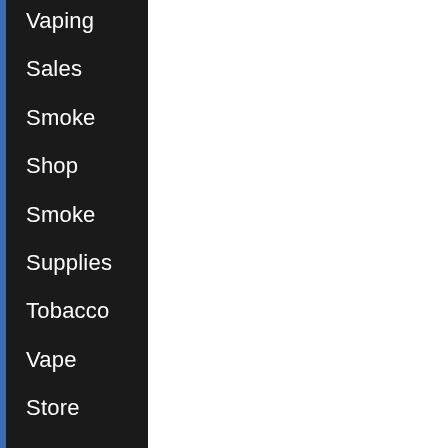Vaping
Sales
Smoke
Shop
Smoke
Supplies
Tobacco
Vape
Store
Vape
Supplies
Vaping
Product
Tax
Vaping